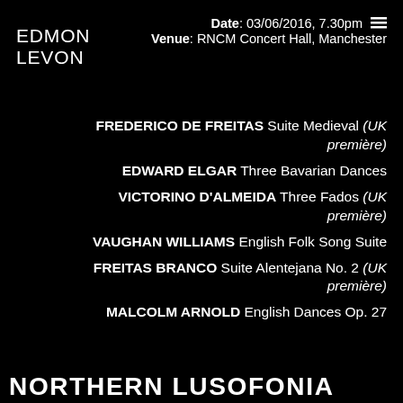Date: 03/06/2016, 7.30pm
Venue: RNCM Concert Hall, Manchester
EDMON LEVON
FREDERICO DE FREITAS Suite Medieval (UK première)
EDWARD ELGAR Three Bavarian Dances
VICTORINO D'ALMEIDA Three Fados (UK première)
VAUGHAN WILLIAMS English Folk Song Suite
FREITAS BRANCO Suite Alentejana No. 2 (UK première)
MALCOLM ARNOLD English Dances Op. 27
NORTHERN LUSOFONIA